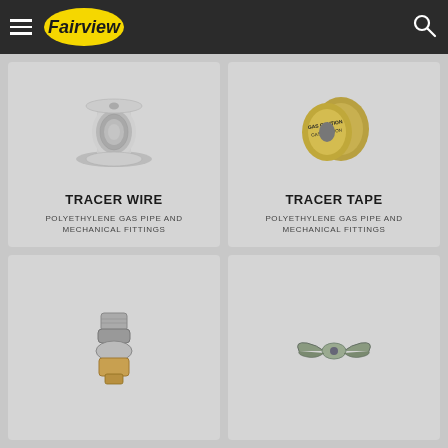Fairview
[Figure (photo): Spool of tracer wire on a metal reel]
TRACER WIRE
POLYETHYLENE GAS PIPE AND MECHANICAL FITTINGS
[Figure (photo): Two rolls of tracer tape with caution text]
TRACER TAPE
POLYETHYLENE GAS PIPE AND MECHANICAL FITTINGS
[Figure (photo): Metal pipe union fitting with brass end]
[Figure (photo): Metal wing nut or butterfly fitting]